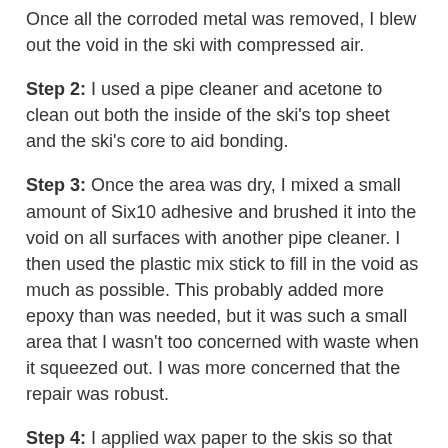Once all the corroded metal was removed, I blew out the void in the ski with compressed air.
Step 2: I used a pipe cleaner and acetone to clean out both the inside of the ski's top sheet and the ski's core to aid bonding.
Step 3: Once the area was dry, I mixed a small amount of Six10 adhesive and brushed it into the void on all surfaces with another pipe cleaner. I then used the plastic mix stick to fill in the void as much as possible. This probably added more epoxy than was needed, but it was such a small area that I wasn't too concerned with waste when it squeezed out. I was more concerned that the repair was robust.
Step 4: I applied wax paper to the skis so that the epoxy wouldn't get anywhere that I didn't want it to, and then I clamped the ski as shown in the photo.